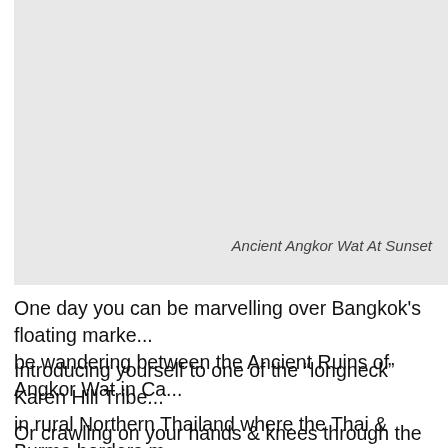[Figure (photo): Large light gray placeholder rectangle representing a photo of Ancient Angkor Wat At Sunset]
Ancient Angkor Wat At Sunset
One day you can be marvelling over Bangkok's floating marke... be wandering between the Ancient Ruins of Angkor Wat in Ca...
Introducing yourself to one of the “longneck” Karen Hill Tribe... in rural Northern Thailand where the Thai & Burma borders m...
Or crawling on your hands & knees through the Chu Chi Tunn...